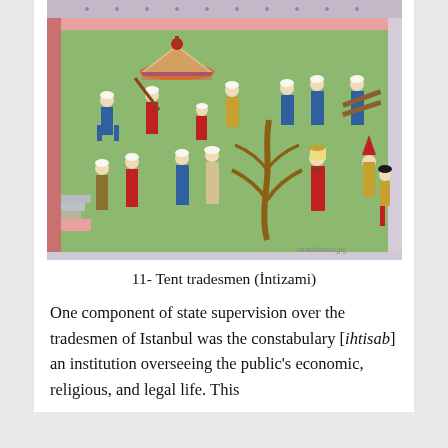[Figure (illustration): Ottoman miniature painting showing tent tradesmen (İntizami) — multiple figures in colorful robes and white turbans carrying poles and a decorated tent canopy, set against a green background with a stylized tree. Pink and brick borders on sides.]
11- Tent tradesmen (İntizami)
One component of state supervision over the tradesmen of Istanbul was the constabulary [ihtisab] an institution overseeing the public's economic, religious, and legal life. This